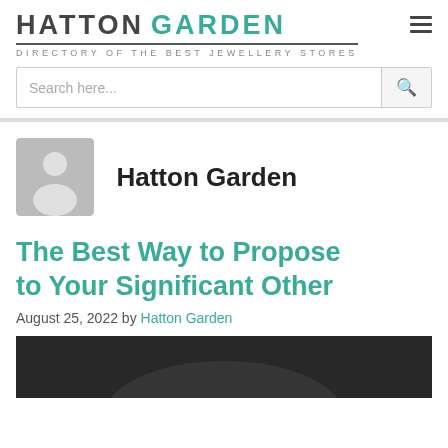HATTON GARDEN — DIRECTORY OF THE BEST JEWELLERY STORES
Search here...
[Figure (photo): Default user avatar placeholder — grey silhouette of a person on grey background]
Hatton Garden
The Best Way to Propose to Your Significant Other
August 25, 2022 by Hatton Garden
[Figure (photo): Partial black and white photo at the bottom of the page]